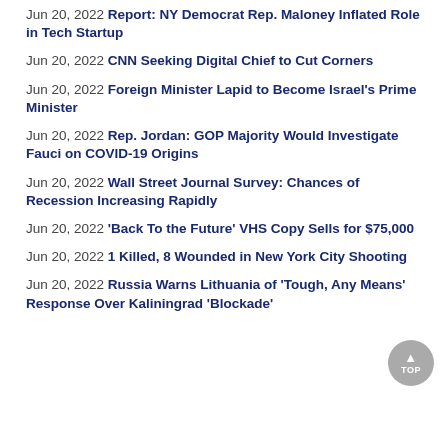Jun 20, 2022 Report: NY Democrat Rep. Maloney Inflated Role in Tech Startup
Jun 20, 2022 CNN Seeking Digital Chief to Cut Corners
Jun 20, 2022 Foreign Minister Lapid to Become Israel's Prime Minister
Jun 20, 2022 Rep. Jordan: GOP Majority Would Investigate Fauci on COVID-19 Origins
Jun 20, 2022 Wall Street Journal Survey: Chances of Recession Increasing Rapidly
Jun 20, 2022 'Back To the Future' VHS Copy Sells for $75,000
Jun 20, 2022 1 Killed, 8 Wounded in New York City Shooting
Jun 20, 2022 Russia Warns Lithuania of 'Tough, Any Means' Response Over Kaliningrad 'Blockade'